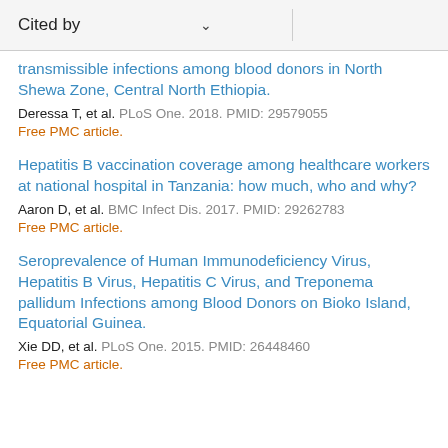Cited by
transmissible infections among blood donors in North Shewa Zone, Central North Ethiopia.
Deressa T, et al. PLoS One. 2018. PMID: 29579055
Free PMC article.
Hepatitis B vaccination coverage among healthcare workers at national hospital in Tanzania: how much, who and why?
Aaron D, et al. BMC Infect Dis. 2017. PMID: 29262783
Free PMC article.
Seroprevalence of Human Immunodeficiency Virus, Hepatitis B Virus, Hepatitis C Virus, and Treponema pallidum Infections among Blood Donors on Bioko Island, Equatorial Guinea.
Xie DD, et al. PLoS One. 2015. PMID: 26448460
Free PMC article.